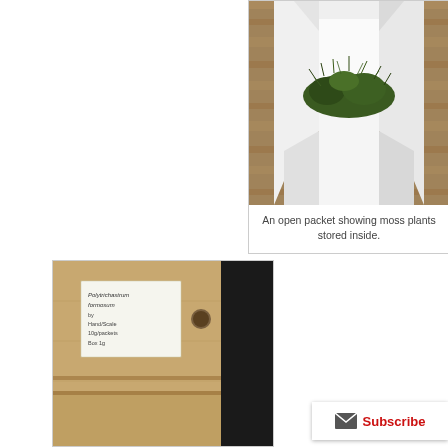[Figure (photo): An open white paper packet on a wooden table surface, containing dark green moss plants visible spilling out from the top of the open packet.]
An open packet showing moss plants stored inside.
[Figure (photo): A cardboard box partially visible with a handwritten label on it, and a dark object visible to the right. The label appears to read botanical/plant specimen information.]